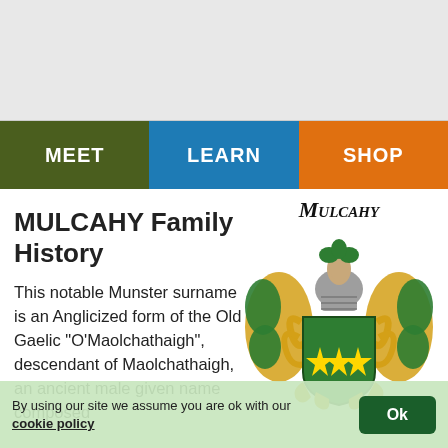[Figure (other): Gray advertisement banner area at top of page]
MEET | LEARN | SHOP
MULCAHY Family History
[Figure (illustration): Mulcahy family coat of arms with green shield bearing three gold stars, ornate gold and green mantling, knight's helmet crest, and gothic script 'Mulcahy' title above]
This notable Munster surname is an Anglicized form of the Old Gaelic "O'Maolchathaigh", descendant of Maolchathaigh, an ancient male given name composed
By using our site we assume you are ok with our cookie policy
Ok